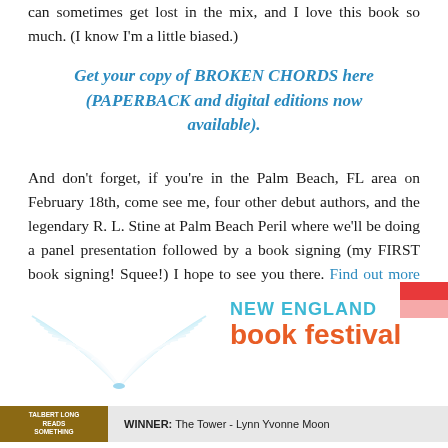can sometimes get lost in the mix, and I love this book so much. (I know I'm a little biased.)
Get your copy of BROKEN CHORDS here (PAPERBACK and digital editions now available).
And don't forget, if you're in the Palm Beach, FL area on February 18th, come see me, four other debut authors, and the legendary R. L. Stine at Palm Beach Peril where we'll be doing a panel presentation followed by a book signing (my FIRST book signing! Squee!) I hope to see you there. Find out more about this event HERE.
[Figure (illustration): New England Book Festival banner with open book illustration on left, 'NEW ENGLAND book festival' text in teal and orange on right, red graphic in top-right corner]
WINNER: The Tower - Lynn Yvonne Moon